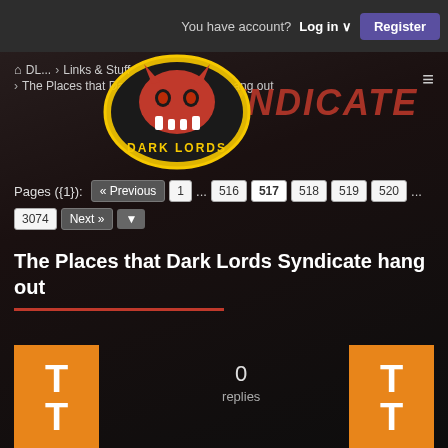You have account? Log in ∨  Register
🏠 DL... › Links & Stuff › The Places that Dark Lords Syndicate hang out
[Figure (logo): Dark Lords Syndicate logo - red skull dragon with yellow border on dark background, text DARK LORDS at bottom]
SYNDICATE
Pages ({1}): « Previous  1 ... 516  517  518  519  520 ...  3074  Next »  ▼
The Places that Dark Lords Syndicate hang out
[Figure (photo): Orange avatar square with large white T letter for user Torrent41]
→ OPTUM G2 2020
Torrent41
0 replies
[Figure (photo): Orange avatar square with large white T letter for user Torrent41 (last post)]
08-09-2022, 07:22 AM
Last Post:
Torrent41